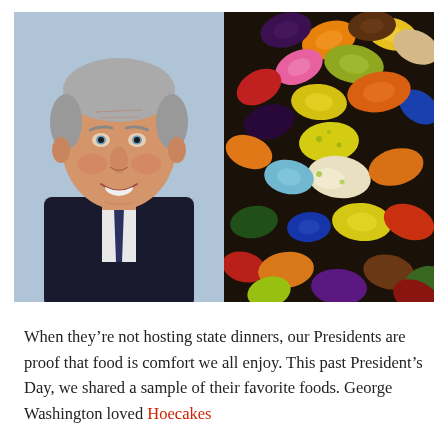[Figure (photo): Side-by-side photo: left half shows an elderly smiling man (Ronald Reagan) in a dark suit and tie; right half shows a close-up of colorful jelly beans in various colors including orange, yellow, green, red, blue, purple, and white.]
When they're not hosting state dinners, our Presidents are proof that food is comfort we all enjoy. This past President's Day, we shared a sample of their favorite foods. George Washington loved Hoecakes